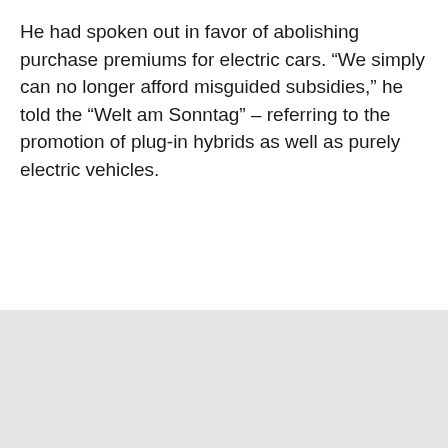He had spoken out in favor of abolishing purchase premiums for electric cars. “We simply can no longer afford misguided subsidies,” he told the “Welt am Sonntag” – referring to the promotion of plug-in hybrids as well as purely electric vehicles.